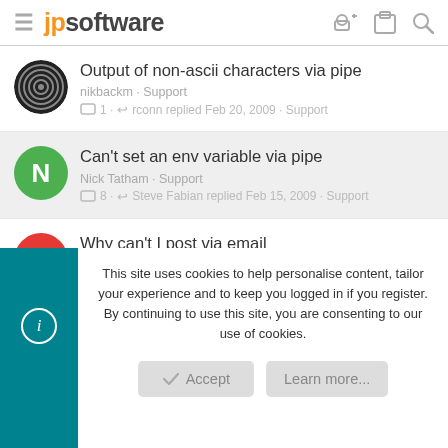jpsoftware
Output of non-ascii characters via pipe
nikbackm · Support
1 · rconn replied Feb 20, 2009 · Support
Can't set an env variable via pipe
Nick Tatham · Support
8 · Steve Fabian replied Feb 15, 2009 · Support
Why can't I post via email
drrob1 · Support
5 · rconn replied Jan 24, 2009 · Support
This site uses cookies to help personalise content, tailor your experience and to keep you logged in if you register.
By continuing to use this site, you are consenting to our use of cookies.